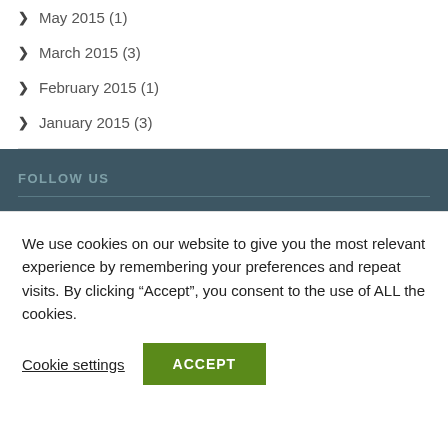May 2015 (1)
March 2015 (3)
February 2015 (1)
January 2015 (3)
FOLLOW US
We use cookies on our website to give you the most relevant experience by remembering your preferences and repeat visits. By clicking “Accept”, you consent to the use of ALL the cookies.
Cookie settings   ACCEPT